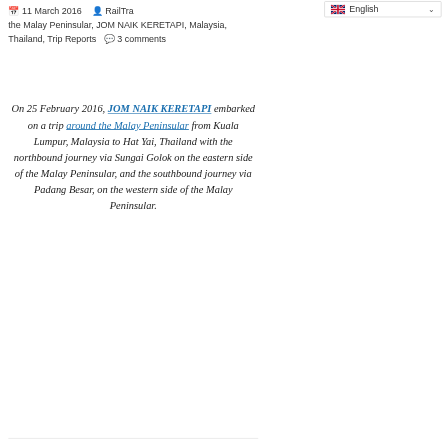11 March 2016  RailTra[veller]  the Malay Peninsular, JOM NAIK KERETAPI, Malaysia, Thailand, Trip Reports  3 comments
On 25 February 2016, JOM NAIK KERETAPI embarked on a trip around the Malay Peninsular from Kuala Lumpur, Malaysia to Hat Yai, Thailand with the northbound journey via Sungai Golok on the eastern side of the Malay Peninsular, and the southbound journey via Padang Besar, on the western side of the Malay Peninsular.
After exploring the new Padang Besar (Thai) Railway Station, I headed back south to Malaysia via the Padang Besar land checkpoint.